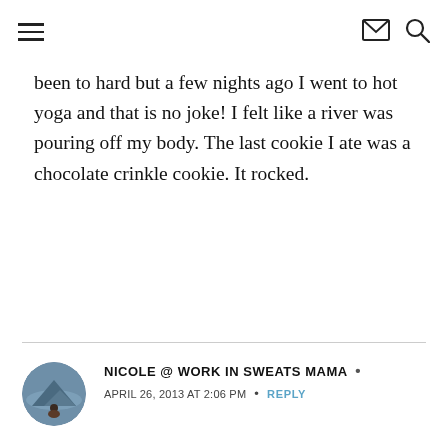[hamburger menu icon] [envelope icon] [search icon]
been to hard but a few nights ago I went to hot yoga and that is no joke! I felt like a river was pouring off my body. The last cookie I ate was a chocolate crinkle cookie. It rocked.
NICOLE @ WORK IN SWEATS MAMA • APRIL 26, 2013 AT 2:06 PM • REPLY
Dinner with grandma and grandpa tonight. Third cake smash of the week for Monkey! Then headed to the